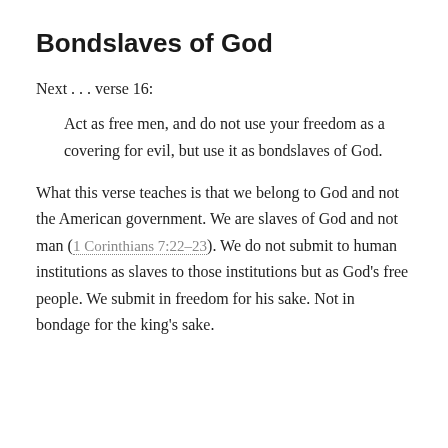Bondslaves of God
Next . . . verse 16:
Act as free men, and do not use your freedom as a covering for evil, but use it as bondslaves of God.
What this verse teaches is that we belong to God and not the American government. We are slaves of God and not man (1 Corinthians 7:22–23). We do not submit to human institutions as slaves to those institutions but as God's free people. We submit in freedom for his sake. Not in bondage for the king's sake.